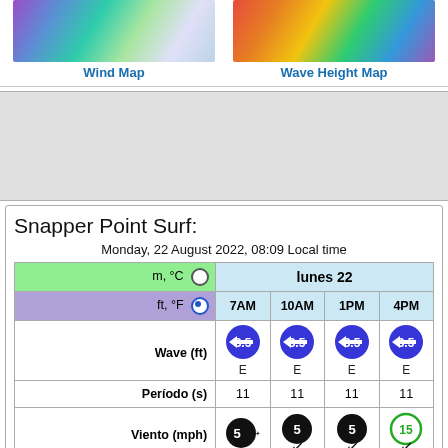[Figure (map): Wind map showing colored contours over ocean/land area]
Wind Map
[Figure (map): Wave Height Map showing colored contours (red/orange/yellow/green/blue) over ocean area]
Wave Height Map
Snapper Point Surf:
Monday, 22 August 2022, 08:09 Local time
| m, °C / ft, °F | lunes 22 - 7AM | lunes 22 - 10AM | lunes 22 - 1PM | lunes 22 - 4PM |
| --- | --- | --- | --- | --- |
| Wave (ft) | 3.5 E | 3.5 E | 3.5 E | 3.5 E |
| Período (s) | 11 | 11 | 11 | 11 |
| Viento (mph) | 5 | 5 | 5 | 15 |
| Estado del Viento | cross | cross-on | cross-on | cross-on |